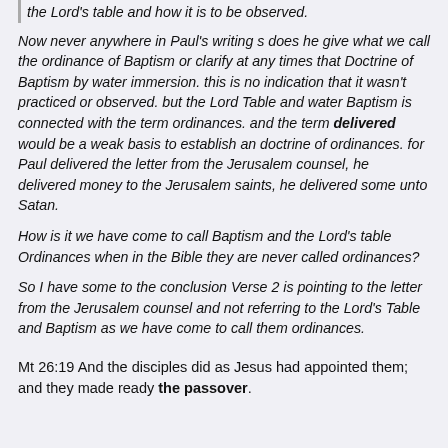the Lord's table and how it is to be observed.
Now never anywhere in Paul's writing s does he give what we call the ordinance of Baptism or clarify at any times that Doctrine of Baptism by water immersion. this is no indication that it wasn't practiced or observed. but the Lord Table and water Baptism is connected with the term ordinances. and the term delivered would be a weak basis to establish an doctrine of ordinances. for Paul delivered the letter from the Jerusalem counsel, he delivered money to the Jerusalem saints, he delivered some unto Satan.
How is it we have come to call Baptism and the Lord's table Ordinances when in the Bible they are never called ordinances?
So I have some to the conclusion Verse 2 is pointing to the letter from the Jerusalem counsel and not referring to the Lord's Table and Baptism as we have come to call them ordinances.
Mt 26:19 And the disciples did as Jesus had appointed them; and they made ready the passover.